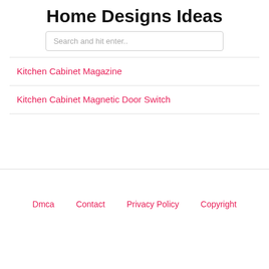Home Designs Ideas
Search and hit enter..
Kitchen Cabinet Magazine
Kitchen Cabinet Magnetic Door Switch
Dmca   Contact   Privacy Policy   Copyright